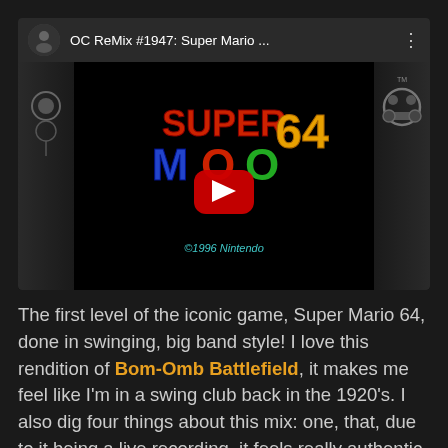[Figure (screenshot): YouTube video thumbnail for OC ReMix #1947: Super Mario 64, showing the Super Mario 64 game logo with a red YouTube play button overlay and OCRemix branding on the left sidebar. Copyright 1996 Nintendo shown at bottom.]
The first level of the iconic game, Super Mario 64, done in swinging, big band style! I love this rendition of Bom-Omb Battlefield, it makes me feel like I'm in a swing club back in the 1920's. I also dig four things about this mix: one, that, due to it being a live recording, it feels really authentic. You even hear a guy ordering a pint of Amsterdam